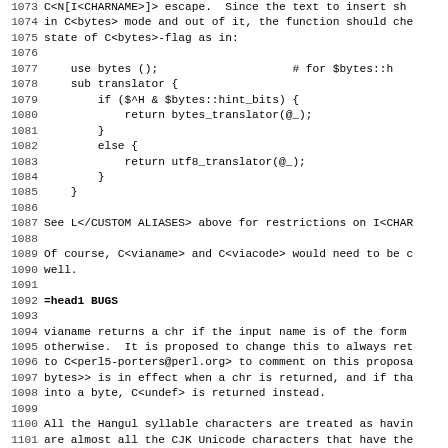1073 C<N[I<CHARNAME>]> escape. Since the text to insert sh
1074 in C<bytes> mode and out of it, the function should che
1075 state of C<bytes>-flag as in:
1076
1077     use bytes ();                    # for $bytes::h
1078     sub translator {
1079         if ($^H & $bytes::hint_bits) {
1080             return bytes_translator(@_);
1081         }
1082         else {
1083             return utf8_translator(@_);
1084         }
1085     }
1086
1087 See L</CUSTOM ALIASES> above for restrictions on I<CHAR
1088
1089 Of course, C<vianame> and C<viacode> would need to be c
1090 well.
1091
1092 =head1 BUGS
1093
1094 vianame returns a chr if the input name is of the form
1095 otherwise.  It is proposed to change this to always ret
1096 to C<perl5-porters@perl.org> to comment on this proposa
1097 bytes>> is in effect when a chr is returned, and if tha
1098 into a byte, C<undef> is returned instead.
1099
1100 All the Hangul syllable characters are treated as havin
1101 are almost all the CJK Unicode characters that have the
1102 part of their names.
1103
1104 Names must be ASCII characters only, which means that y
1105 you want to create aliases in a language where some c